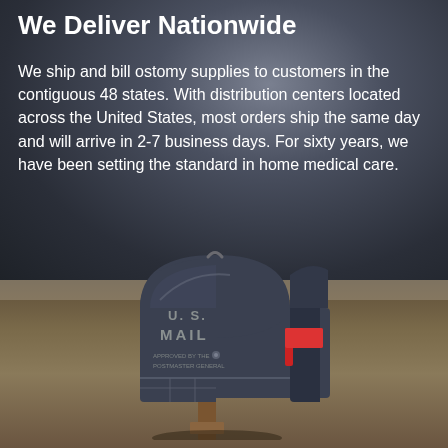We Deliver Nationwide
We ship and bill ostomy supplies to customers in the contiguous 48 states. With distribution centers located across the United States, most orders ship the same day and will arrive in 2-7 business days. For sixty years, we have been setting the standard in home medical care.
[Figure (photo): A U.S. Mail mailbox on a wooden post photographed against a dramatic stormy sky with countryside landscape in the background.]